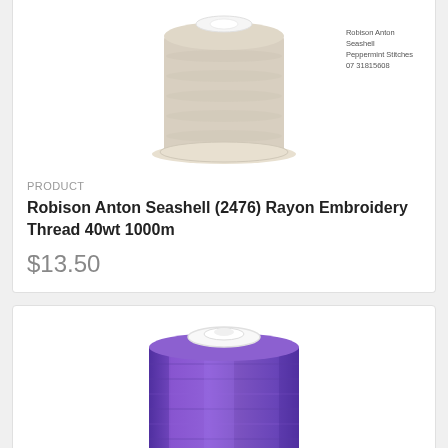[Figure (photo): A spool of cream/beige colored Robison Anton Seashell rayon embroidery thread, with a watermark label.]
PRODUCT
Robison Anton Seashell (2476) Rayon Embroidery Thread 40wt 1000m
$13.50
[Figure (photo): A spool of purple/violet colored rayon embroidery thread on a white base.]